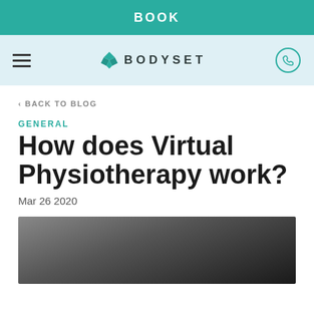BOOK
[Figure (logo): Bodyset logo with teal diamond icon and hamburger menu and phone icon on light blue navigation bar]
< BACK TO BLOG
GENERAL
How does Virtual Physiotherapy work?
Mar 26 2020
[Figure (photo): Dark photograph of a person in a room, appears to be a physiotherapy or exercise setting]